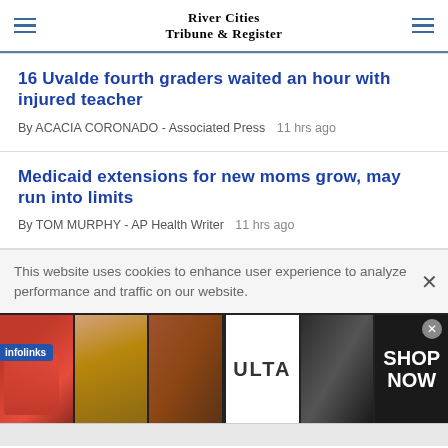River Cities Tribune & Register
16 Uvalde fourth graders waited an hour with injured teacher
By ACACIA CORONADO - Associated Press   11 hrs ago
Medicaid extensions for new moms grow, may run into limits
By TOM MURPHY - AP Health Writer   11 hrs ago
This website uses cookies to enhance user experience to analyze performance and traffic on our website.
[Figure (photo): Ulta Beauty advertisement banner with cosmetic/beauty imagery including lips, makeup brush, eye makeup, Ulta logo, and SHOP NOW text]